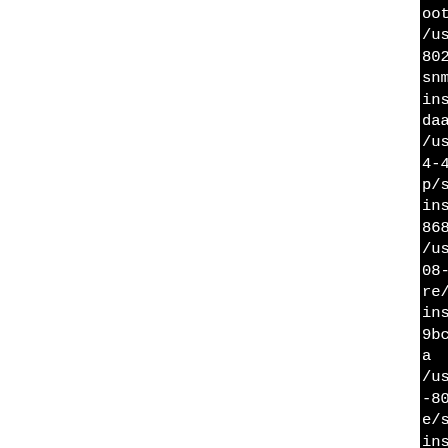oot-builder/usr/share/snmp/usr/bin/install -c -m 6448024-4cda-b0da-399bcdaa868snmp/snmpconf-data/snmpd-dinstall: installed snmpd-ddaa8686/BUILD/tmp/net-snmp/usr/bin/install -c -m 6444-4cda-b0da-399bcdaa8686/Bp/snmpconf-data/snmpd-datainstall: installed snmpd-d8686/BUILD/tmp/net-snmp-5/usr/bin/install -c -m 64408-8024-4cda-b0da-399bcdaare/snmp/snmpconf-data/snmpinstall: installed snmpd-d9bcdaa8686/BUILD/tmp/net-sa/usr/bin/install -c -m 644-8024-4cda-b0da-399bcdaa86e/snmp/snmpconf-data/snmpdinstall: installed snmpd-dcdaa8686/BUILD/tmp/net-snm/usr/bin/install -c -m 64408-8024-4cda-b0da-399bcd